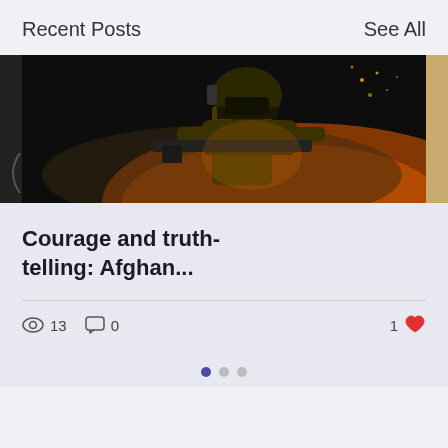Recent Posts
See All
[Figure (photo): Blog post card carousel showing a soldier in tactical gear with helmet and weapon against dark smoky orange background. Left and right peek of adjacent cards visible.]
Courage and truth-telling: Afghan...
13 views, 0 comments, 1 like
Carousel pagination dots: 1 active, 2 inactive